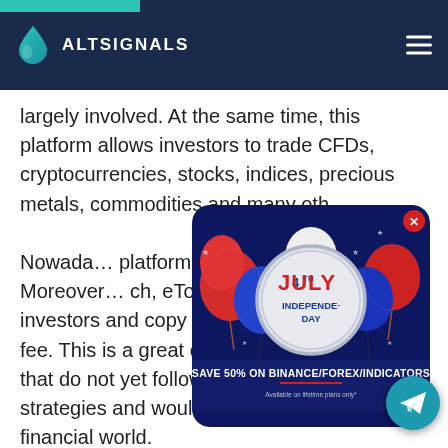ALTSIGNALS
largely involved. At the same time, this platform allows investors to trade CFDs, cryptocurrencies, stocks, indices, precious metals, commodities and many oth...
Nowada... platform... as a larger nu... Moreover... ch, eToro lets users follow other investors and copy their portfolios for a small fee. This is a great opportunity for newcomers that do not yet follow advanced trading strategies and would like to get exposure the financial world.
[Figure (infographic): 4th July Independence Day popup ad with patriotic balloons, white badge text '4TH JULY INDEPENDENCE DAY', and banner 'SAVE 50% ON BINANCE/FOREX/INDICATORS. Available on lifetime plans only.']